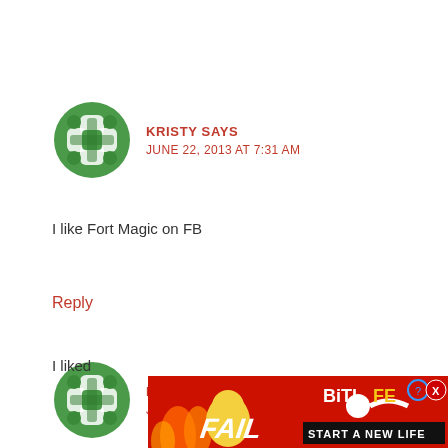[Figure (illustration): Green decorative avatar icon with cross/flower pattern]
KRISTY SAYS
JUNE 22, 2013 AT 7:31 AM
I like Fort Magic on FB
Reply
[Figure (illustration): Green decorative avatar icon with cross/flower pattern]
KRISTY SAYS
JUNE 22, 2013 AT 7:33 AM
I liked
[Figure (illustration): BitLife advertisement banner with FAIL text and Start a New Life tagline]